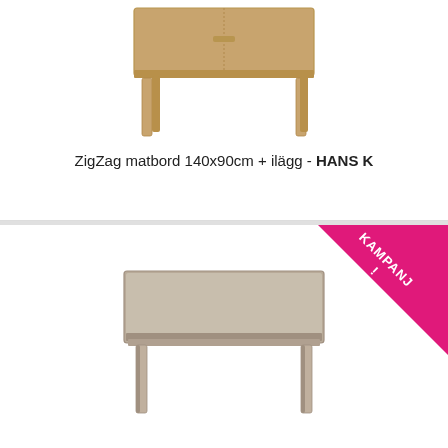[Figure (photo): ZigZag dining table 140x90cm with leaf extension, oak wood, top view from slightly above showing the tabletop and four legs]
ZigZag matbord 140x90cm + ilägg - HANS K
[Figure (photo): Dining table with light oak/grey wood finish, rectangular tabletop with four tapered legs, campaign/sale badge in pink]
KAMPANJU!